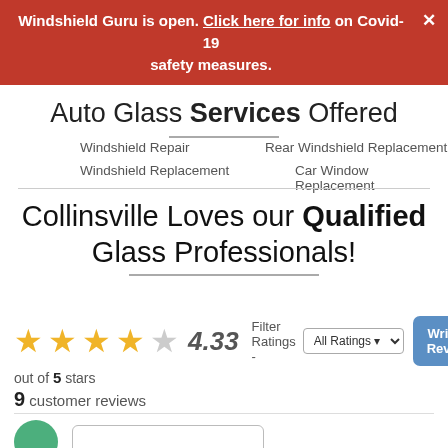Windshield Guru is open. Click here for info on Covid-19 safety measures.
Auto Glass Services Offered
Windshield Repair
Windshield Replacement
Rear Windshield Replacement
Car Window Replacement
Collinsville Loves our Qualified Glass Professionals!
4.33 out of 5 stars
9 customer reviews
Filter Ratings - All Ratings
Write a Review